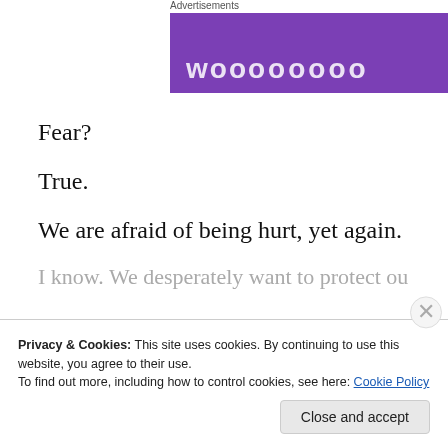[Figure (other): Advertisements banner with purple background showing partial text/logo and gray section on the right]
Fear?
True.
We are afraid of being hurt, yet again.
I know. We desperately want to protect our hearts from
Privacy & Cookies: This site uses cookies. By continuing to use this website, you agree to their use.
To find out more, including how to control cookies, see here: Cookie Policy